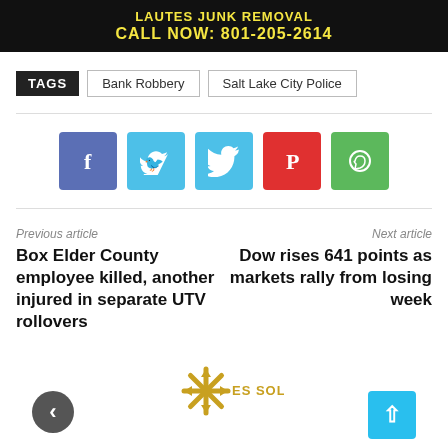[Figure (infographic): Advertisement banner for Lautes Junk Removal with dark background and yellow text: LAUTES JUNK REMOVAL / CALL NOW: 801-205-2614]
TAGS  Bank Robbery  Salt Lake City Police
[Figure (infographic): Social share buttons: Facebook (blue-purple), Twitter (cyan), Pinterest (red), WhatsApp (green)]
Previous article
Box Elder County employee killed, another injured in separate UTV rollovers
Next article
Dow rises 641 points as markets rally from losing week
[Figure (logo): ES Solar logo with asterisk/snowflake icon and text ES SOLAR in golden/yellow color]